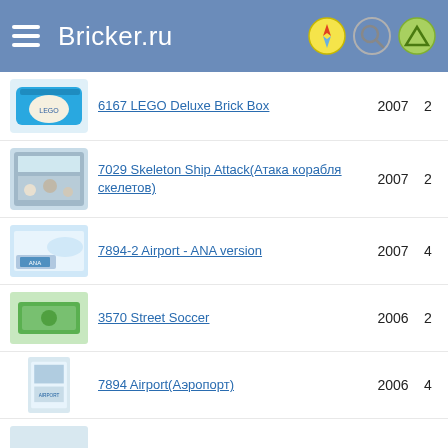Bricker.ru
6167 LEGO Deluxe Brick Box
7029 Skeleton Ship Attack(Атака корабля скелетов)
7894-2 Airport - ANA version
3570 Street Soccer
7894 Airport(Аэропорт)
7899 Police Boat(Полицейский катер)